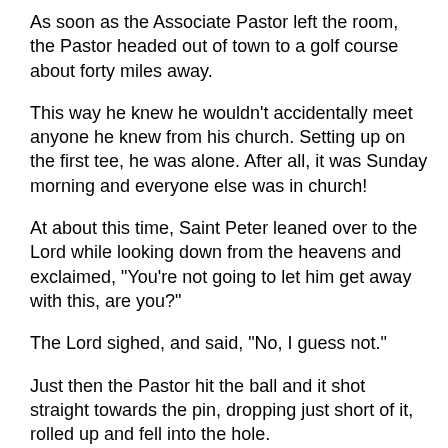As soon as the Associate Pastor left the room, the Pastor headed out of town to a golf course about forty miles away.
This way he knew he wouldn't accidentally meet anyone he knew from his church. Setting up on the first tee, he was alone. After all, it was Sunday morning and everyone else was in church!
At about this time, Saint Peter leaned over to the Lord while looking down from the heavens and exclaimed, "You're not going to let him get away with this, are you?"
The Lord sighed, and said, "No, I guess not."
Just then the Pastor hit the ball and it shot straight towards the pin, dropping just short of it, rolled up and fell into the hole.